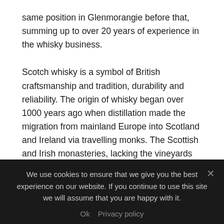same position in Glenmorangie before that, summing up to over 20 years of experience in the whisky business.
Scotch whisky is a symbol of British craftsmanship and tradition, durability and reliability. The origin of whisky began over 1000 years ago when distillation made the migration from mainland Europe into Scotland and Ireland via travelling monks. The Scottish and Irish monasteries, lacking the vineyards and gMs Barrie's love for whisky goes back to her youth; her first position after graduating was a research scientist at The Scotch Whisky Research Institute. Rachel has been a Master Blender since 2003, without a doubt the most respected position in the
We use cookies to ensure that we give you the best experience on our website. If you continue to use this site we will assume that you are happy with it.
Ok  Privacy policy